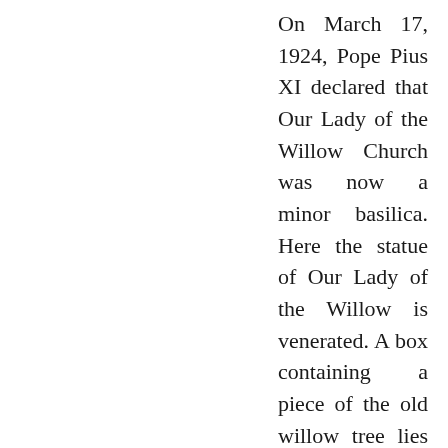On March 17, 1924, Pope Pius XI declared that Our Lady of the Willow Church was now a minor basilica. Here the statue of Our Lady of the Willow is venerated. A box containing a piece of the old willow tree lies under her altar and Pierre's grave is at the foot of the altar.
Many people come to honour Our Lady of the Willow at this shrine and many have left little plaques in thanksgiving to Our Lady, for some special grace which she has given them. Also more than a hundred miracles are reported to have taken place at this shrine. Thank-you Jesus and Mary for your great mercies.